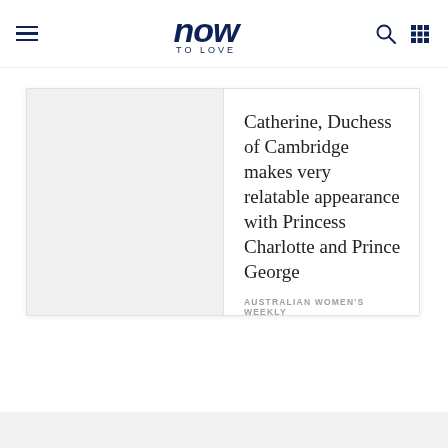now TO LOVE
[Figure (screenshot): Article card with placeholder image on the left and article text on the right. Article title: Catherine, Duchess of Cambridge makes very relatable appearance with Princess Charlotte and Prince George. Source: AUSTRALIAN WOMEN'S WEEKLY.]
Catherine, Duchess of Cambridge makes very relatable appearance with Princess Charlotte and Prince George
AUSTRALIAN WOMEN'S WEEKLY